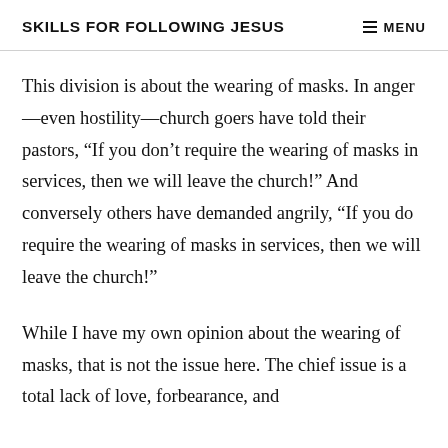SKILLS FOR FOLLOWING JESUS
This division is about the wearing of masks. In anger—even hostility—church goers have told their pastors, “If you don’t require the wearing of masks in services, then we will leave the church!” And conversely others have demanded angrily, “If you do require the wearing of masks in services, then we will leave the church!”
While I have my own opinion about the wearing of masks, that is not the issue here. The chief issue is a total lack of love, forbearance, and